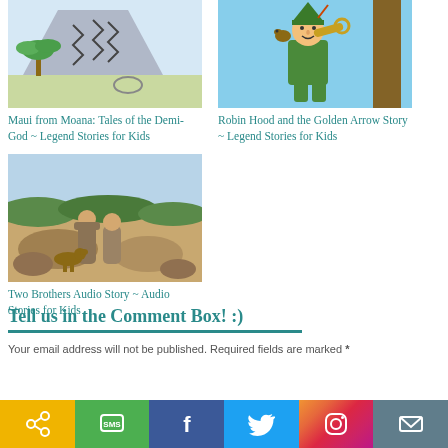[Figure (illustration): Child's drawing of a mountain with zigzag patterns and a palm tree — Maui from Moana]
Maui from Moana: Tales of the Demi-God ~ Legend Stories for Kids
[Figure (illustration): Cartoon illustration of Robin Hood in green outfit holding a horn, standing by a tree]
Robin Hood and the Golden Arrow Story ~ Legend Stories for Kids
[Figure (illustration): Painted scene of two brothers with a dog in a desert or rocky landscape]
Two Brothers Audio Story ~ Audio Stories for Kids
Tell us in the Comment Box! :)
Your email address will not be published. Required fields are marked *